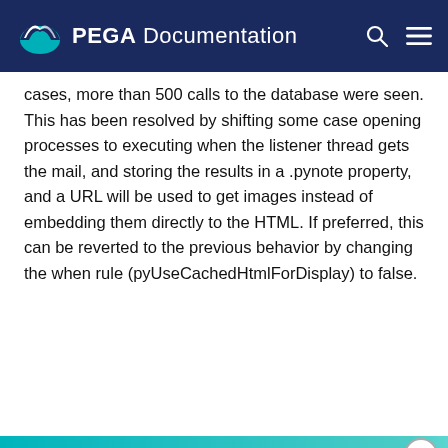PEGA Documentation
cases, more than 500 calls to the database were seen. This has been resolved by shifting some case opening processes to executing when the listener thread gets the mail, and storing the results in a .pynote property, and a URL will be used to get images instead of embedding them directly to the HTML. If preferred, this can be reverted to the previous behavior by changing the when rule (pyUseCachedHtmlForDisplay) to false.
READY TO CRUSH COMPLEXITY?
By using this site, you agree to the use of cookies.
Read our Privacy Policy
Accept and continue
About cookies